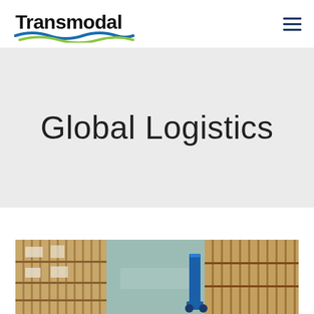[Figure (logo): Transmodal company logo with black bold text and blue-green wave graphic below]
Global Logistics
[Figure (photo): Warehouse interior showing stacked wooden pallets and boxes with a blue hand truck, concrete floor visible]